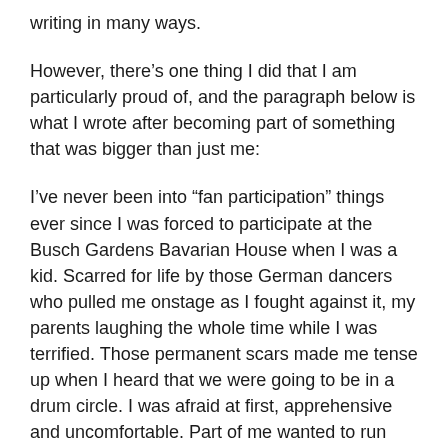writing in many ways.
However, there’s one thing I did that I am particularly proud of, and the paragraph below is what I wrote after becoming part of something that was bigger than just me:
I’ve never been into “fan participation” things ever since I was forced to participate at the Busch Gardens Bavarian House when I was a kid. Scarred for life by those German dancers who pulled me onstage as I fought against it, my parents laughing the whole time while I was terrified. Those permanent scars made me tense up when I heard that we were going to be in a drum circle. I was afraid at first, apprehensive and uncomfortable. Part of me wanted to run away, but I took my seat and secured the drum that was given to me with my feet. I had no idea what was going to happen, which added to my discomfort. As the leader began, he would drum a beat on the side and on the front of his drum for two different pitches, and we would echo